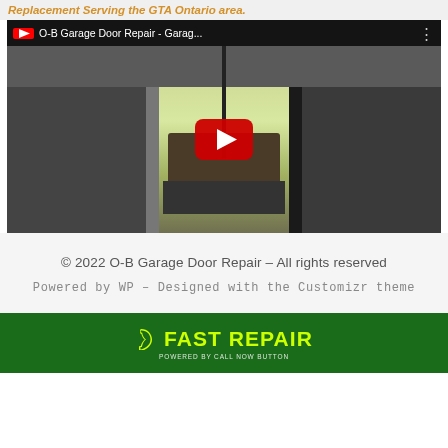Replacement Serving the GTA Ontario area.
[Figure (screenshot): YouTube video thumbnail showing O-B Garage Door Repair video with a red play button overlay. Title bar reads 'O-B Garage Door Repair - Garag...' The background shows a garage interior view with a vehicle outside.]
© 2022 O-B Garage Door Repair – All rights reserved
Powered by WP – Designed with the Customizr theme
[Figure (infographic): Green bar at bottom with yellow phone icon and 'FAST REPAIR' text in yellow, and 'POWERED BY CALL NOW BUTTON' text below.]